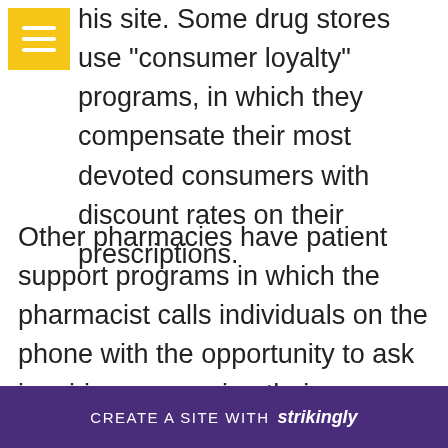this site. Some drug stores use "consumer loyalty" programs, in which they compensate their most devoted consumers with discount rates on their prescriptions.
Other pharmacies have patient support programs in which the pharmacist calls individuals on the phone with the opportunity to ask inquiries concerning their medicines. Explore more about this page. In most cases, the pharmacologist also has the ability to suggest additional drug. Read here for more info. You can call the consumer assis[tance line if you have a questio]n at the p[harmacy. Click here for more info on th]ese